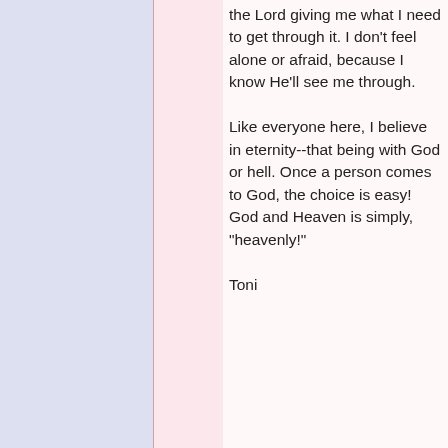the Lord giving me what I need to get through it. I don't feel alone or afraid, because I know He'll see me through.

Like everyone here, I believe in eternity--that being with God or hell. Once a person comes to God, the choice is easy! God and Heaven is simply, "heavenly!"

Toni
Top
Re: The 5 People   #72607 - 01/27/04 03:56
jawjaw  Da Queen
Registered: 07/02/03
Posts: 12025
Loc: Alabama
well I finished the book and I loved it as well. It is definitely one "for the books." ouch!

I was very sad for him at first because he was locked into his fears and didn't feel he could leave, and also that he felt tied to his responsibilities, but I th